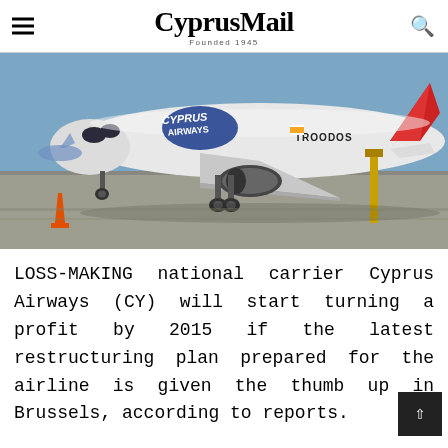CyprusMail — Founded 1945
[Figure (photo): Cyprus Airways airplane (registration TROODOS) parked on the tarmac at an airport. The aircraft is white with the Cyprus Airways logo in blue on the fuselage. The jet engine and landing gear are visible. Airport ground equipment is visible in the background.]
LOSS-MAKING national carrier Cyprus Airways (CY) will start turning a profit by 2015 if the latest restructuring plan prepared for the airline is given the thumb up in Brussels, according to reports.